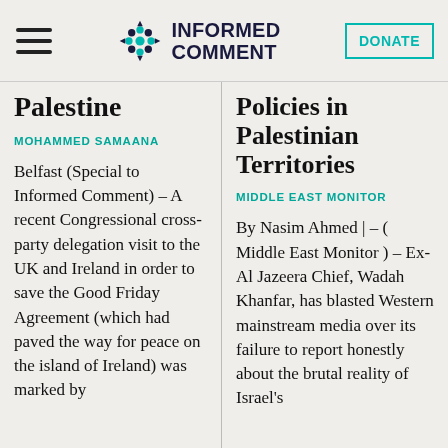Informed Comment — DONATE
Palestine
MOHAMMED SAMAANA
Belfast (Special to Informed Comment) – A recent Congressional cross-party delegation visit to the UK and Ireland in order to save the Good Friday Agreement (which had paved the way for peace on the island of Ireland) was marked by
Policies in Palestinian Territories
MIDDLE EAST MONITOR
By Nasim Ahmed | – ( Middle East Monitor ) – Ex-Al Jazeera Chief, Wadah Khanfar, has blasted Western mainstream media over its failure to report honestly about the brutal reality of Israel's